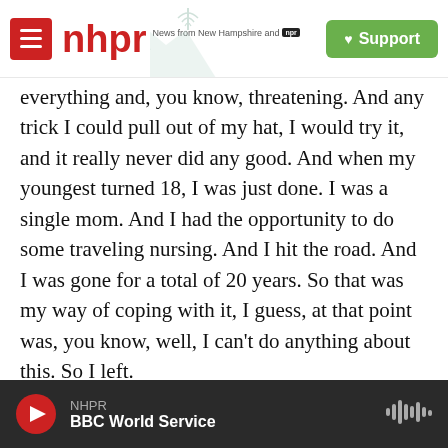nhpr — News from New Hampshire and NPR | Support
everything and, you know, threatening. And any trick I could pull out of my hat, I would try it, and it really never did any good. And when my youngest turned 18, I was just done. I was a single mom. And I had the opportunity to do some traveling nursing. And I hit the road. And I was gone for a total of 20 years. So that was my way of coping with it, I guess, at that point was, you know, well, I can't do anything about this. So I left.
PEREZ GREEN: And how do you feel about that?
WALSH: I feel guilty about it (laughter). I wish I
NHPR — BBC World Service